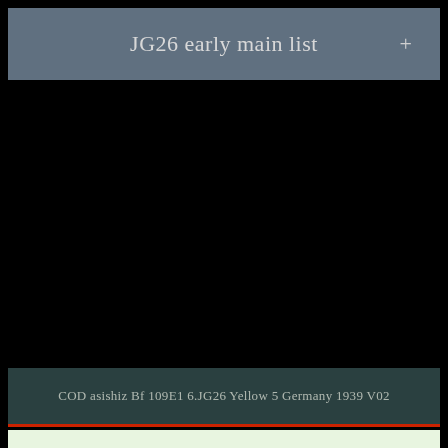JG26 early main list  +
Previous
Next
[Figure (photo): Black image area — photo content not visible]
COD asishiz Bf 109E1 6.JG26 Yellow 5 Germany 1939 V02